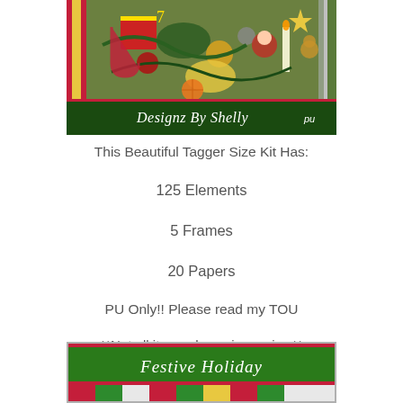[Figure (illustration): Christmas scrapbook kit preview image showing holiday elements (ornaments, Santa, candles, pine branches, ribbons, gifts) with 'Designz By Shelly pu' banner at bottom on dark green background, bordered with red and colorful strips]
This Beautiful Tagger Size Kit Has:
125 Elements
5 Frames
20 Papers
PU Only!! Please read my TOU
**Not all items shown in preview**
[Figure (illustration): Bottom portion of a Christmas scrapbook kit preview showing 'Festive Holiday' text banner in green with red border, and colorful striped/patterned papers below]